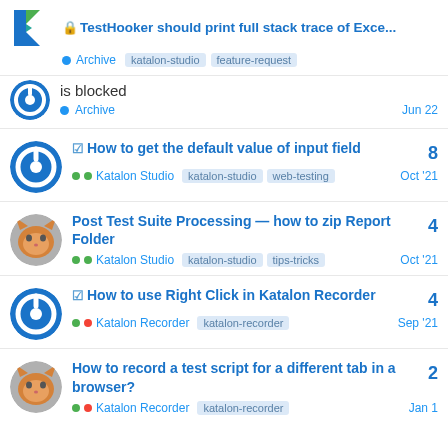TestHooker should print full stack trace of Exce...
is blocked · Archive · Jun 22
How to get the default value of input field · Katalon Studio · katalon-studio · web-testing · Oct '21 · 8
Post Test Suite Processing — how to zip Report Folder · Katalon Studio · katalon-studio · tips-tricks · Oct '21 · 4
How to use Right Click in Katalon Recorder · Katalon Recorder · katalon-recorder · Sep '21 · 4
How to record a test script for a different tab in a browser? · Katalon Recorder · katalon-recorder · Jan 1 · 2